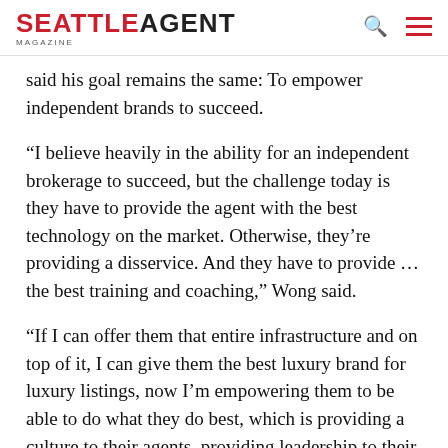SEATTLE AGENT MAGAZINE
said his goal remains the same: To empower independent brands to succeed.
“I believe heavily in the ability for an independent brokerage to succeed, but the challenge today is they have to provide the agent with the best technology on the market. Otherwise, they’re providing a disservice. And they have to provide … the best training and coaching,” Wong said.
“If I can offer them that entire infrastructure and on top of it, I can give them the best luxury brand for luxury listings, now I’m empowering them to be able to do what they do best, which is providing a culture to their agents, providing leadership to their agents, providing